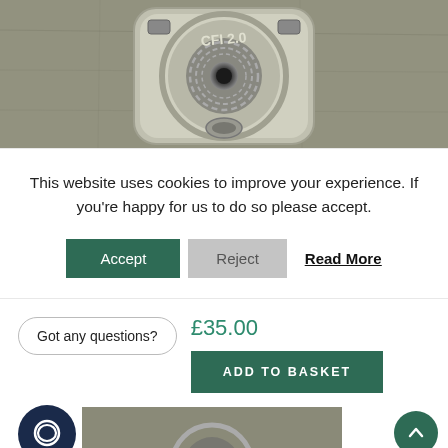[Figure (photo): Close-up photo of a metal mechanical component (appears to be a coin cell battery holder or similar hardware) marked CFI 2.0, viewed from above on a concrete surface.]
This website uses cookies to improve your experience. If you're happy for us to do so please accept.
Accept | Reject | Read More
Got any questions?
£35.00
ADD TO BASKET
[Figure (photo): Partial view of another metal mechanical component photograph at the bottom of the page.]